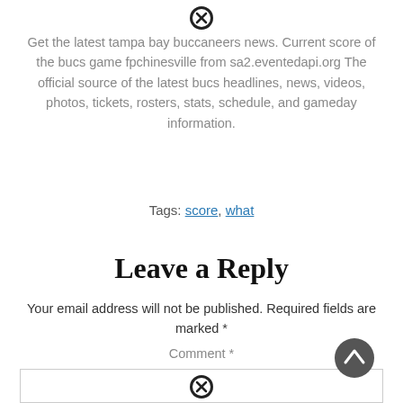[Figure (other): Close/dismiss icon (circled X) at top center]
Get the latest tampa bay buccaneers news. Current score of the bucs game fpchinesville from sa2.eventedapi.org The official source of the latest bucs headlines, news, videos, photos, tickets, rosters, stats, schedule, and gameday information.
Tags: score, what
Leave a Reply
Your email address will not be published. Required fields are marked *
Comment *
[Figure (other): Comment text area input box]
[Figure (other): Scroll-to-top arrow button (dark circle with upward arrow)]
[Figure (other): Close/dismiss icon (circled X) at bottom center]